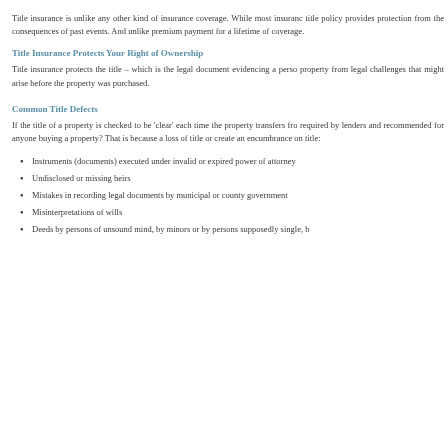Title insurance is unlike any other kind of insurance coverage. While most insurance title policy provides protection from the consequences of past events. And unlike premium payment for a lifetime of coverage.
Title Insurance Protects Your Right of Ownership
Title insurance protects the title – which is the legal document evidencing a person's property from legal challenges that might arise before the property was purchased.
Common Title Defects
If the title of a property is checked to be 'clear' each time the property transfers from required by lenders and recommended for anyone buying a property? That is because a loss of title or create an encumbrance on title:
Instruments (documents) executed under invalid or expired power of attorney
Undisclosed or missing heirs
Mistakes in recording legal documents by municipal or county government
Misinterpretations of wills
Deeds by persons of unsound mind, by minors or by persons supposedly single, b